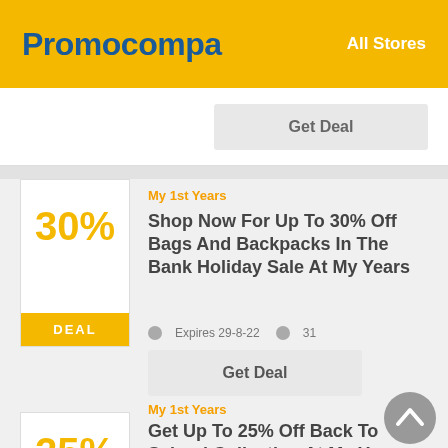Promocompa   All Stores
[Figure (screenshot): Partial deal card showing 'Get Deal' button at bottom]
My 1st Years
Shop Now For Up To 30% Off Bags And Backpacks In The Bank Holiday Sale At My Years
Expires 29-8-22   31
Get Deal
My 1st Years
Get Up To 25% Off Back To School Collection At My Years